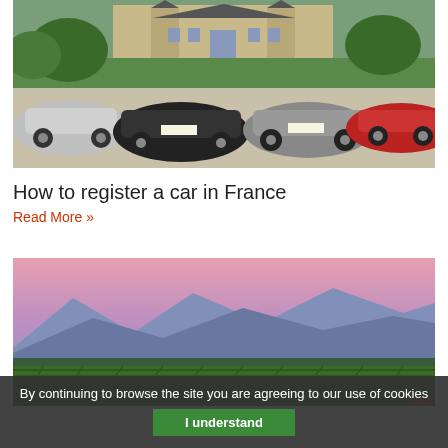[Figure (photo): Four luxury sports cars (including Aston Martin models) parked in front of a French chateau with green lawns and trees]
How to register a car in France
Read More »
[Figure (photo): Panoramic landscape of vineyards at dusk with blue mountains in the background and a pink/purple sky]
By continuing to browse the site you are agreeing to our use of cookies
I understand